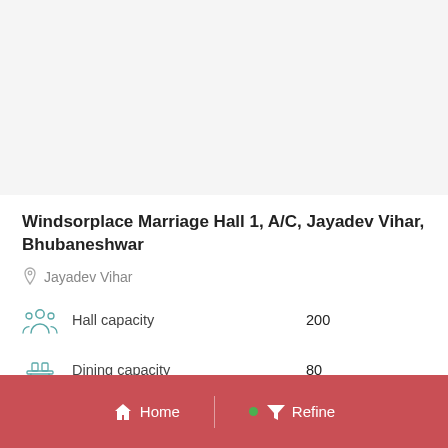[Figure (photo): Photo area of the wedding/marriage hall venue (white/light grey placeholder)]
Windsorplace Marriage Hall 1,  A/C, Jayadev Vihar, Bhubaneshwar
Jayadev Vihar
Hall capacity   200
Dining capacity   80
Food type   Veg & Non-Veg
Home   Refine